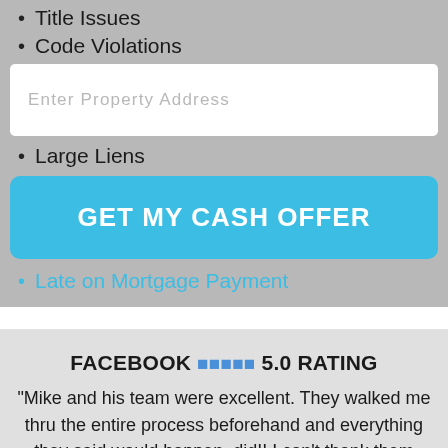Title Issues
Code Violations
Enter Property Address
Large Liens
GET MY CASH OFFER
Late on Mortgage Payment
FACEBOOK ★★★★★ 5.0 RATING
"Mike and his team were excellent. They walked me thru the entire process beforehand and everything they said would happen, did!! I can't thank them enough for their transparency and